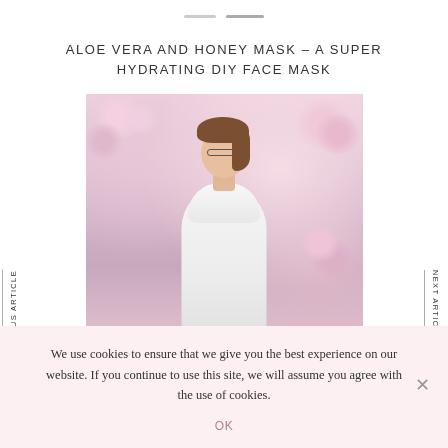ALOE VERA AND HONEY MASK – A SUPER HYDRATING DIY FACE MASK
[Figure (photo): Woman wearing glasses and white coat/scarf standing in front of blossoming pink cherry trees, looking to the side]
PREVIOUS ARTICLE
NEXT ARTICLE
We use cookies to ensure that we give you the best experience on our website. If you continue to use this site, we will assume you agree with the use of cookies.
OK